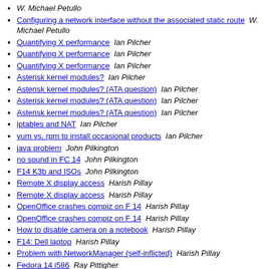W. Michael Petullo
Configuring a network interface without the associated static route  W. Michael Petullo
Quantifying X performance  Ian Pilcher
Quantifying X performance  Ian Pilcher
Quantifying X performance  Ian Pilcher
Asterisk kernel modules?  Ian Pilcher
Asterisk kernel modules? (ATA question)  Ian Pilcher
Asterisk kernel modules? (ATA question)  Ian Pilcher
Asterisk kernel modules? (ATA question)  Ian Pilcher
iptables and NAT  Ian Pilcher
yum vs. rpm to install occasional products  Ian Pilcher
java problem  John Pilkington
no sound in FC 14  John Pilkington
F14 K3b and ISOs  John Pilkington
Remote X display access  Harish Pillay
Remote X display access  Harish Pillay
OpenOffice crashes compiz on F 14  Harish Pillay
OpenOffice crashes compiz on F 14  Harish Pillay
How to disable camera on a notebook  Harish Pillay
F14: Dell laptop  Harish Pillay
Problem with NetworkManager (self-inflicted)  Harish Pillay
Fedora 14 i586  Ray Pittigher
Fedora 14 i586  Ray Pittigher
Fedora 14 i586  Ray Pittigher